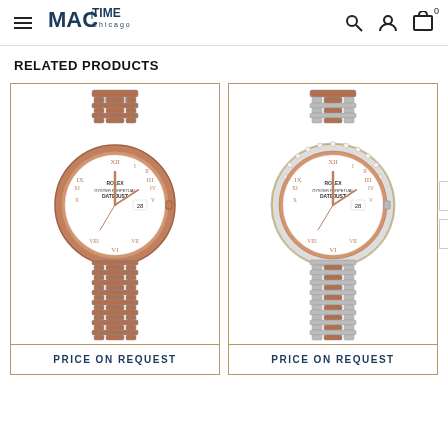MAC TIME Chicago — navigation header with menu, search, account, cart icons
RELATED PRODUCTS
[Figure (photo): Rolex Datejust Lady watch with rose gold bezel and two-tone jubilee bracelet, white dial with Roman numerals]
PRICE ON REQUEST
[Figure (photo): Rolex Datejust Lady watch with diamond-set rose gold bezel and two-tone jubilee bracelet, white dial with Roman numerals]
PRICE ON REQUEST